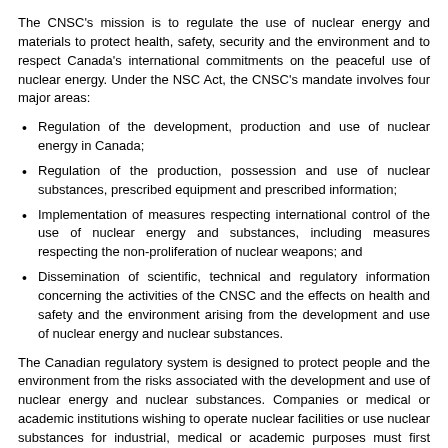The CNSC's mission is to regulate the use of nuclear energy and materials to protect health, safety, security and the environment and to respect Canada's international commitments on the peaceful use of nuclear energy. Under the NSC Act, the CNSC's mandate involves four major areas:
Regulation of the development, production and use of nuclear energy in Canada;
Regulation of the production, possession and use of nuclear substances, prescribed equipment and prescribed information;
Implementation of measures respecting international control of the use of nuclear energy and substances, including measures respecting the non-proliferation of nuclear weapons; and
Dissemination of scientific, technical and regulatory information concerning the activities of the CNSC and the effects on health and safety and the environment arising from the development and use of nuclear energy and nuclear substances.
The Canadian regulatory system is designed to protect people and the environment from the risks associated with the development and use of nuclear energy and nuclear substances. Companies or medical or academic institutions wishing to operate nuclear facilities or use nuclear substances for industrial, medical or academic purposes must first obtain a licence from the CNSC. It is a fundamental tenet of Canada's regulatory regime that licensees are primarily responsible for safety. The CNSC's role is to ensure that the applicants live up to their responsibility. The onus is therefore on the applicant or the holder of the license to justify the selection of a site, design, method of construction, and mode of operation of a facility, etc. When issuing a licence, the CNSC must be